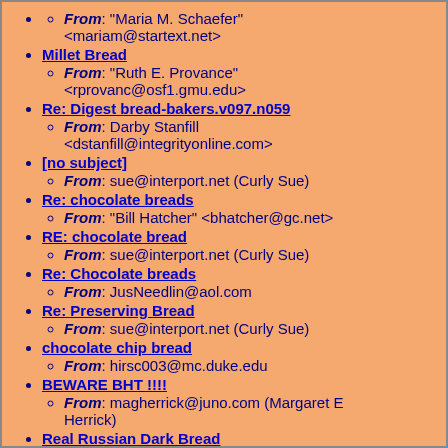From: "Maria M. Schaefer" <mariam@startext.net>
Millet Bread
From: "Ruth E. Provance" <rprovanc@osf1.gmu.edu>
Re: Digest bread-bakers.v097.n059
From: Darby Stanfill <dstanfill@integrityonline.com>
[no subject]
From: sue@interport.net (Curly Sue)
Re: chocolate breads
From: "Bill Hatcher" <bhatcher@gc.net>
RE: chocolate bread
From: sue@interport.net (Curly Sue)
Re: Chocolate breads
From: JusNeedlin@aol.com
Re: Preserving Bread
From: sue@interport.net (Curly Sue)
chocolate chip bread
From: hirsc003@mc.duke.edu
BEWARE BHT !!!!
From: magherrick@juno.com (Margaret E Herrick)
Real Russian Dark Bread
From: "Tim" <ba447@lafn.org>